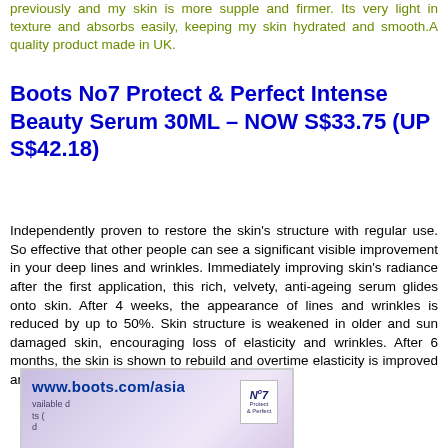previously and my skin is more supple and firmer. Its very light in texture and absorbs easily, keeping my skin hydrated and smooth.A quality product made in UK.
Boots No7 Protect & Perfect Intense Beauty Serum 30ML – NOW S$33.75 (UP S$42.18)
Independently proven to restore the skin's structure with regular use. So effective that other people can see a significant visible improvement in your deep lines and wrinkles. Immediately improving skin's radiance after the first application, this rich, velvety, anti-ageing serum glides onto skin. After 4 weeks, the appearance of lines and wrinkles is reduced by up to 50%. Skin structure is weakened in older and sun damaged skin, encouraging loss of elasticity and wrinkles. After 6 months, the skin is shown to rebuild and overtime elasticity is improved and deep wrinkles are visibly reduced.
[Figure (photo): Image showing Boots No7 Protect & Perfect beauty serum product with the website URL www.boots.com/asia visible, and a No7 product box in the background.]